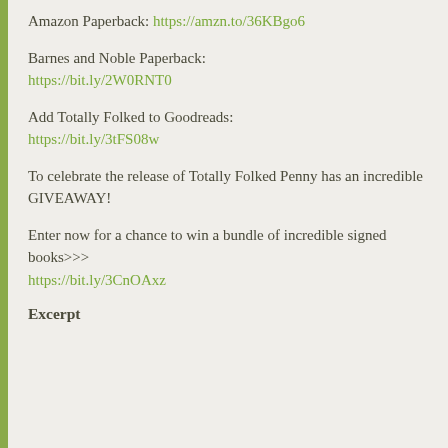Amazon Paperback: https://amzn.to/36KBgo6
Barnes and Noble Paperback:
https://bit.ly/2W0RNT0
Add Totally Folked to Goodreads:
https://bit.ly/3tFS08w
To celebrate the release of Totally Folked Penny has an incredible GIVEAWAY!
Enter now for a chance to win a bundle of incredible signed books>>>
https://bit.ly/3CnOAxz
Excerpt